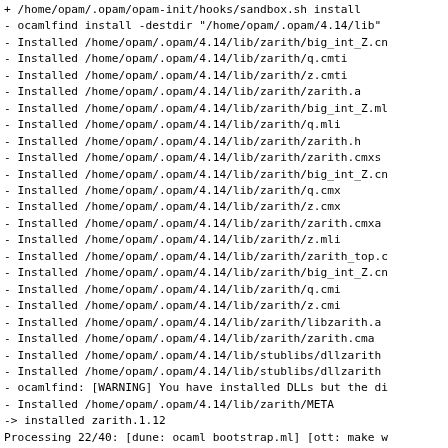+ /home/opam/.opam/opam-init/hooks/sandbox.sh install
- ocamlfind install -destdir "/home/opam/.opam/4.14/lib"
- Installed /home/opam/.opam/4.14/lib/zarith/big_int_Z.cn
- Installed /home/opam/.opam/4.14/lib/zarith/q.cmti
- Installed /home/opam/.opam/4.14/lib/zarith/z.cmti
- Installed /home/opam/.opam/4.14/lib/zarith/zarith.a
- Installed /home/opam/.opam/4.14/lib/zarith/big_int_Z.ml
- Installed /home/opam/.opam/4.14/lib/zarith/q.mli
- Installed /home/opam/.opam/4.14/lib/zarith/zarith.h
- Installed /home/opam/.opam/4.14/lib/zarith/zarith.cmxs
- Installed /home/opam/.opam/4.14/lib/zarith/big_int_Z.cn
- Installed /home/opam/.opam/4.14/lib/zarith/q.cmx
- Installed /home/opam/.opam/4.14/lib/zarith/z.cmx
- Installed /home/opam/.opam/4.14/lib/zarith/zarith.cmxa
- Installed /home/opam/.opam/4.14/lib/zarith/z.mli
- Installed /home/opam/.opam/4.14/lib/zarith/zarith_top.c
- Installed /home/opam/.opam/4.14/lib/zarith/big_int_Z.cn
- Installed /home/opam/.opam/4.14/lib/zarith/q.cmi
- Installed /home/opam/.opam/4.14/lib/zarith/z.cmi
- Installed /home/opam/.opam/4.14/lib/zarith/libzarith.a
- Installed /home/opam/.opam/4.14/lib/zarith/zarith.cma
- Installed /home/opam/.opam/4.14/lib/stublibs/dllzarith
- Installed /home/opam/.opam/4.14/lib/stublibs/dllzarith
- ocamlfind: [WARNING] You have installed DLLs but the di
- Installed /home/opam/.opam/4.14/lib/zarith/META
-> installed zarith.1.12
Processing 22/40: [dune: ocaml bootstrap.ml] [ott: make w
Processing 23/40: [dune: ocaml bootstrap.ml] [ott: make w
+ /home/opam/.opam/opam-init/hooks/sandbox.sh "build" "ma
- cd src; make install
- cd[1]: Entering directory '/home/opam/.opam/4.14/